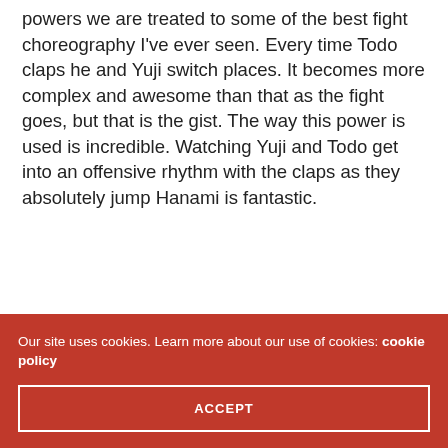powers we are treated to some of the best fight choreography I've ever seen. Every time Todo claps he and Yuji switch places. It becomes more complex and awesome than that as the fight goes, but that is the gist. The way this power is used is incredible. Watching Yuji and Todo get into an offensive rhythm with the claps as they absolutely jump Hanami is fantastic.
Our site uses cookies. Learn more about our use of cookies: cookie policy
ACCEPT